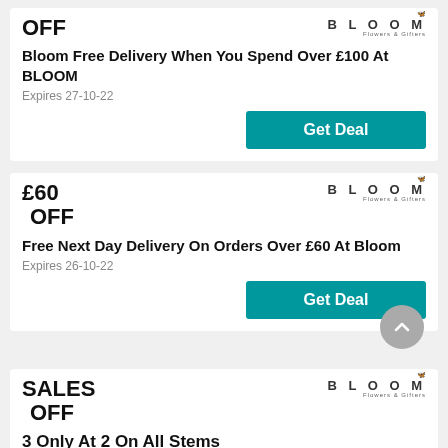OFF
Bloom Free Delivery When You Spend Over £100 At BLOOM
Expires 27-10-22
Get Deal
£60 OFF
Free Next Day Delivery On Orders Over £60 At Bloom
Expires 26-10-22
Get Deal
SALES OFF
3 Only At 2 On All Stems